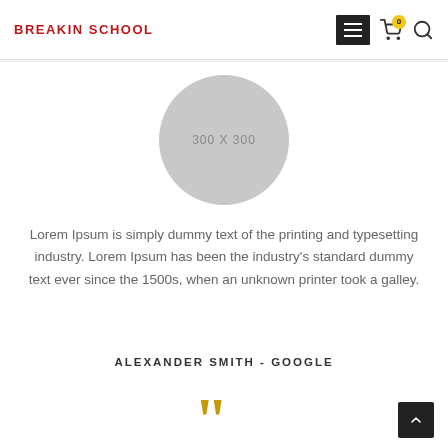BREAKIN SCHOOL
[Figure (other): Circular gray placeholder image labeled 300 X 300]
Lorem Ipsum is simply dummy text of the printing and typesetting industry. Lorem Ipsum has been the industry's standard dummy text ever since the 1500s, when an unknown printer took a galley.
ALEXANDER SMITH - GOOGLE
[Figure (illustration): Large yellow/gold double opening quotation marks]